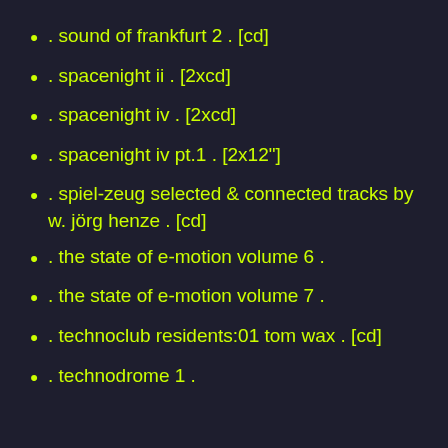. sound of frankfurt 2 . [cd]
. spacenight ii . [2xcd]
. spacenight iv . [2xcd]
. spacenight iv pt.1 . [2x12"]
. spiel-zeug selected & connected tracks by w. jörg henze . [cd]
. the state of e-motion volume 6 .
. the state of e-motion volume 7 .
. technoclub residents:01 tom wax . [cd]
. technodrome 1 .